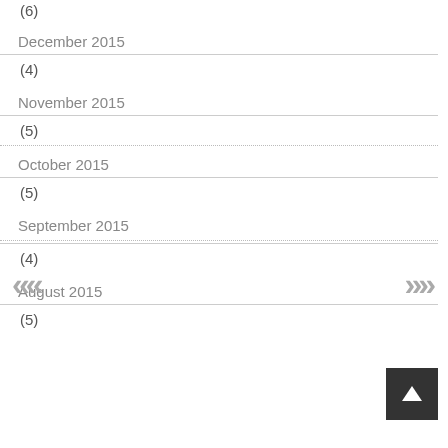(6)
December 2015
(4)
November 2015
(5)
October 2015
(5)
September 2015
(4)
August 2015
(5)